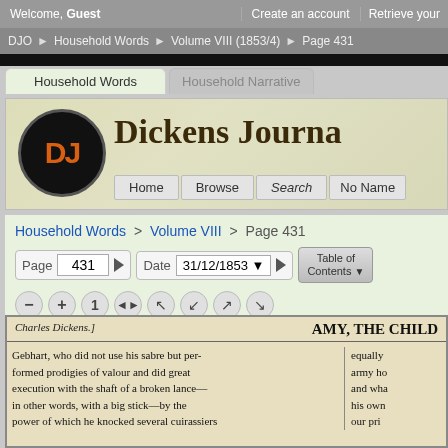Welcome, Guest | Create an account | Retrieve your
DJO > Household Words > Volume VIII (1853/4) > Page 431
Household Words | Household Narrative
Dickens Journa
Home | Browse | Search | No Name
Household Words > Volume VIII > Page 431
Page 431 | Date 31/12/1853 | Table of Contents
[Figure (screenshot): Zoom control buttons: minus, plus, 1, double-arrow, and directional arrow buttons]
[Figure (screenshot): Scanned page from Dickens journal showing 'Charles Dickens.]' on left and 'AMY, THE CHILD' on right as header. Two-column text reading: 'Gebhart, who did not use his sabre but performed prodigies of valour and did great execution with the shaft of a broken lance—in other words, with a big stick—by the power of which he knocked several cuirassiers' | right column: 'equally army ho and wha his own our pri']